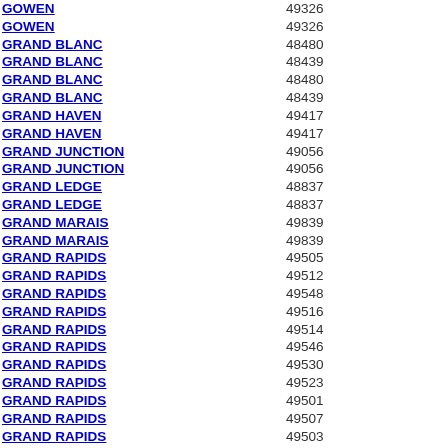| City | ZIP |
| --- | --- |
| GOWEN | 49326 |
| GOWEN | 49326 |
| GRAND BLANC | 48480 |
| GRAND BLANC | 48439 |
| GRAND BLANC | 48480 |
| GRAND BLANC | 48439 |
| GRAND HAVEN | 49417 |
| GRAND HAVEN | 49417 |
| GRAND JUNCTION | 49056 |
| GRAND JUNCTION | 49056 |
| GRAND LEDGE | 48837 |
| GRAND LEDGE | 48837 |
| GRAND MARAIS | 49839 |
| GRAND MARAIS | 49839 |
| GRAND RAPIDS | 49505 |
| GRAND RAPIDS | 49512 |
| GRAND RAPIDS | 49548 |
| GRAND RAPIDS | 49516 |
| GRAND RAPIDS | 49514 |
| GRAND RAPIDS | 49546 |
| GRAND RAPIDS | 49530 |
| GRAND RAPIDS | 49523 |
| GRAND RAPIDS | 49501 |
| GRAND RAPIDS | 49507 |
| GRAND RAPIDS | 49503 |
| GRAND RAPIDS | 49502 |
| GRAND RAPIDS | 49599 |
| GRAND RAPIDS | 49508 |
| GRAND RAPIDS | 49560 |
| GRAND RAPIDS | 49544 |